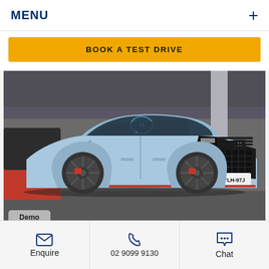MENU
BOOK A TEST DRIVE
[Figure (photo): Light blue Hyundai Kona N performance SUV parked in a car park, front three-quarter view, showing red trim accents, dark mesh grille, and NSW number plate YLH-97J. A Demo badge appears in the bottom-left corner of the image.]
Demo
Enquire
02 9099 9130
Chat